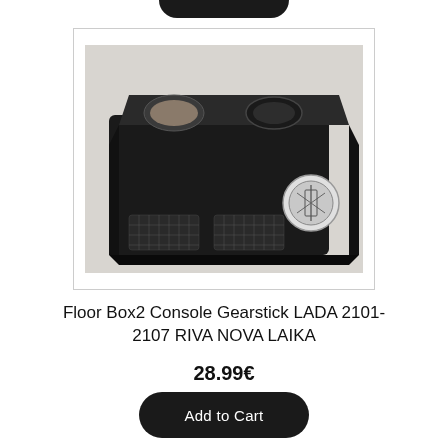[Figure (photo): Black plastic floor console box/tray for LADA car with gearstick opening, cup holder, and grid-textured sections, shown with a small round badge/emblem beside it, photographed on a light surface.]
Floor Box2 Console Gearstick LADA 2101-2107 RIVA NOVA LAIKA
28.99€
Add to Cart